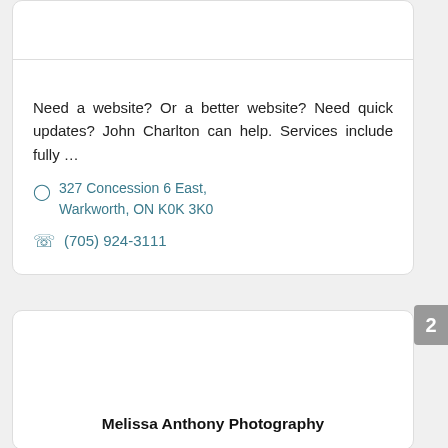Need a website? Or a better website? Need quick updates? John Charlton can help. Services include fully …
327 Concession 6 East, Warkworth, ON K0K 3K0
(705) 924-3111
Melissa Anthony Photography
2